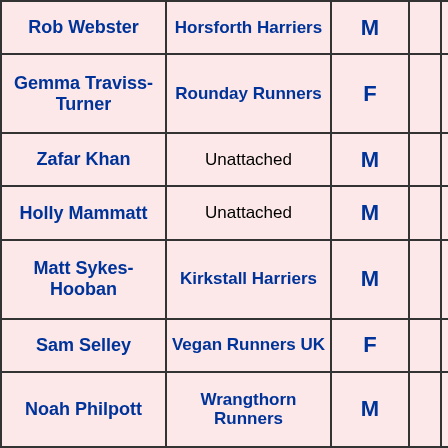| Name | Club | Gender |  | Mins | Secs |
| --- | --- | --- | --- | --- | --- |
| Rob Webster | Horsforth Harriers | M |  | 22 | 59 |
| Gemma Traviss-Turner | Rounday Runners | F |  | 23 | 09 |
| Zafar Khan | Unattached | M |  | 23 | 28 |
| Holly Mammatt | Unattached | M |  | 23 | 30 |
| Matt Sykes-Hooban | Kirkstall Harriers | M |  | 23 | 49 |
| Sam Selley | Vegan Runners UK | F |  | 23 | 51 |
| Noah Philpott | Wrangthorn Runners | M |  | 23 | 53 |